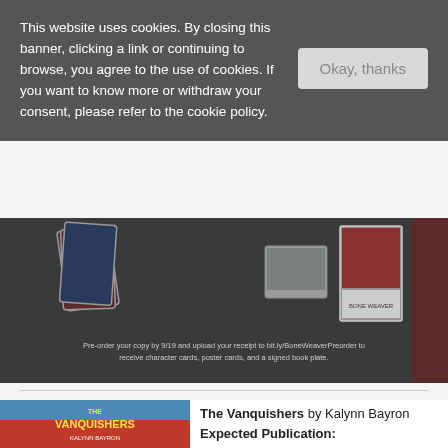This website uses cookies. By closing this banner, clicking a link or continuing to browse, you agree to the use of cookies. If you want to know more or withdraw your consent, please refer to the cookie policy.
[Figure (photo): Promotional banner showing character trading cards and poster cards for a book preorder campaign. Caption reads: Pre-order your copy by 9/19 and upload your receipt to bit.ly/BoneWeaverPreorder to receive character cards, poster cards, and a signed book plate.]
[Figure (photo): Book cover of 'The Vanquishers' by Kalynn Bayron showing illustrated characters with stylized yellow title text on a red and blue background.]
The Vanquishers by Kalynn Bayron
Expected Publication: September 20th 2022 by Bloomsbury Children's Books